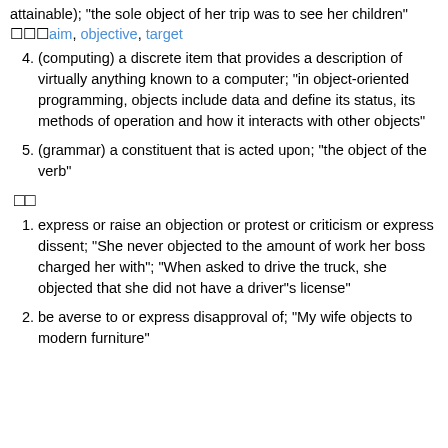attainable); "the sole object of her trip was to see her children"
🔲🔲🔲aim, objective, target
4. (computing) a discrete item that provides a description of virtually anything known to a computer; "in object-oriented programming, objects include data and define its status, its methods of operation and how it interacts with other objects"
5. (grammar) a constituent that is acted upon; "the object of the verb"
🔲🔲
1. express or raise an objection or protest or criticism or express dissent; "She never objected to the amount of work her boss charged her with"; "When asked to drive the truck, she objected that she did not have a driver"s license"
2. be averse to or express disapproval of; "My wife objects to modern furniture"